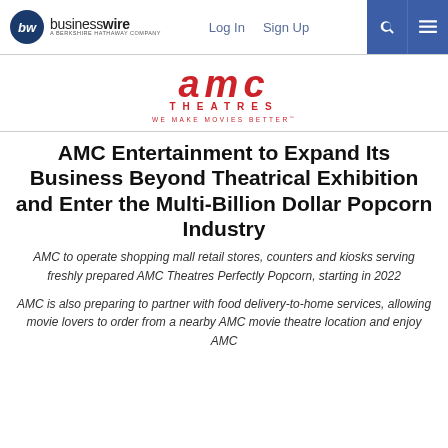businesswire — A Berkshire Hathaway Company | Log In | Sign Up
[Figure (logo): AMC Theatres logo — red stylized AMC letters with THEATRES text and tagline WE MAKE MOVIES BETTER]
AMC Entertainment to Expand Its Business Beyond Theatrical Exhibition and Enter the Multi-Billion Dollar Popcorn Industry
AMC to operate shopping mall retail stores, counters and kiosks serving freshly prepared AMC Theatres Perfectly Popcorn, starting in 2022
AMC is also preparing to partner with food delivery-to-home services, allowing movie lovers to order from a nearby AMC movie theatre location and enjoy AMC